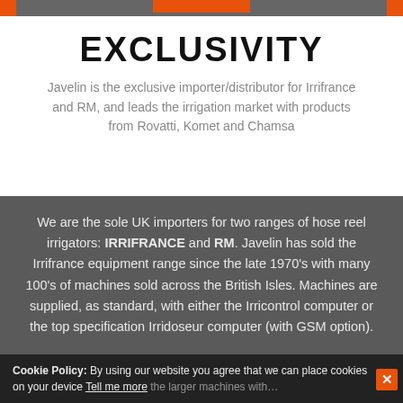EXCLUSIVITY
Javelin is the exclusive importer/distributor for Irrifrance and RM, and leads the irrigation market with products from Rovatti, Komet and Chamsa
We are the sole UK importers for two ranges of hose reel irrigators: IRRIFRANCE and RM. Javelin has sold the Irrifrance equipment range since the late 1970’s with many 100’s of machines sold across the British Isles. Machines are supplied, as standard, with either the Irricontrol computer or the top specification Irridoseur computer (with GSM option).
RM irrigation equipment has been part of our range since 2000 and has proved to be a popular alternative, especially the larger machines with…
Cookie Policy: By using our website you agree that we can place cookies on your device Tell me more